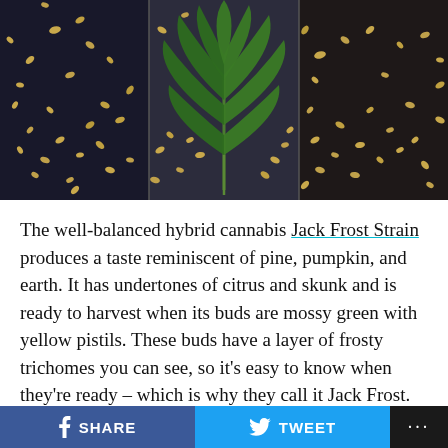[Figure (photo): Three-panel photo showing cannabis seeds scattered on dark surfaces in left and right panels, with a green cannabis leaf in the center panel on a dark slate background.]
The well-balanced hybrid cannabis Jack Frost Strain produces a taste reminiscent of pine, pumpkin, and earth. It has undertones of citrus and skunk and is ready to harvest when its buds are mossy green with yellow pistils. These buds have a layer of frosty trichomes you can see, so it's easy to know when they're ready – which is why they call it Jack Frost.
THC, or tetrahydrocannabinol, is the main psychoactive
f SHARE   🐦 TWEET   ...